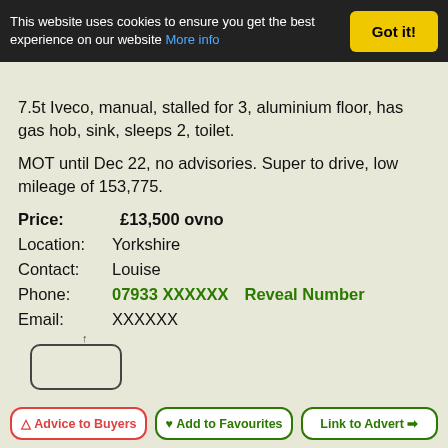This website uses cookies to ensure you get the best experience on our website More info  Got it!
7.5t Iveco, manual, stalled for 3, aluminium floor, has gas hob, sink, sleeps 2, toilet.
MOT until Dec 22, no advisories. Super to drive, low mileage of 153,775.
Price:   £13,500 ovno
Location:  Yorkshire
Contact:  Louise
Phone:  07933 XXXXXX  Reveal Number
Email:  XXXXXX
Advice to Buyers   Add to Favourites   Link to Advert